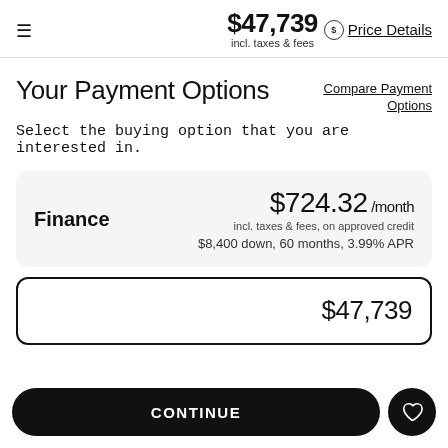$47,739 incl. taxes & fees  Price Details
Your Payment Options
Compare Payment Options
Select the buying option that you are interested in.
Finance  $724.32/month incl. taxes & fees, on approved credit  $8,400 down, 60 months, 3.99% APR
$47,739
CONTINUE